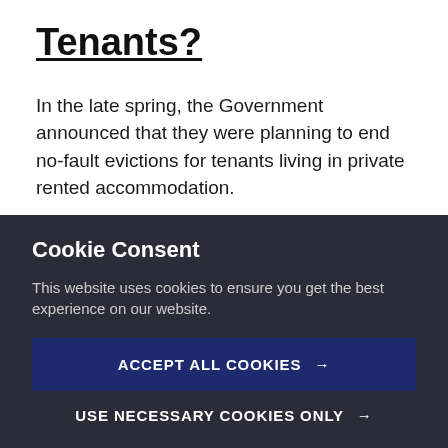Tenants?
In the late spring, the Government announced that they were planning to end no-fault evictions for tenants living in private rented accommodation.
I have had a number of Portsmouth landlords contact me anxious that removing a tenant from their Portsmouth
Cookie Consent
This website uses cookies to ensure you get the best experience on our website.
ACCEPT ALL COOKIES →
USE NECESSARY COOKIES ONLY →